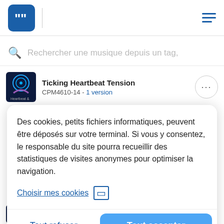[Figure (logo): Blue rounded square logo with white quotation mark icon (Musicbed/similar music licensing app)]
Rechercher une musique depuis un tag,
Ticking Heartbeat Tension
CPM4610-14 - 1 version
Des cookies, petits fichiers informatiques, peuvent être déposés sur votre terminal. Si vous y consentez, le responsable du site pourra recueillir des statistiques de visites anonymes pour optimiser la navigation.
Choisir mes cookies
Tout refuser
Tout accepter